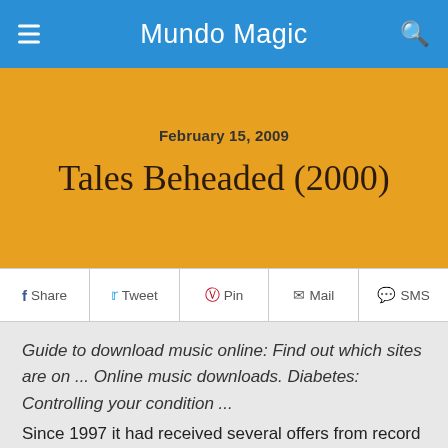Mundo Magic
Tales Beheaded (2000)
February 15, 2009
f Share  Tweet  Pin  Mail  SMS
Guide to download music online: Find out which sites are on ... Online music downloads. Diabetes: Controlling your condition ...
Since 1997 it had received several offers from record companies, but all had been rejected by a decision of Gabriel. Signed a contract with record company EMI-